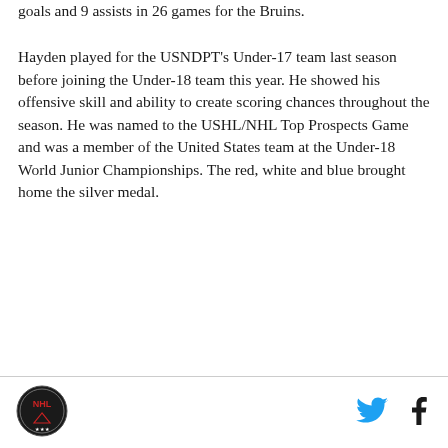goals and 9 assists in 26 games for the Bruins.
Hayden played for the USNDPT's Under-17 team last season before joining the Under-18 team this year. He showed his offensive skill and ability to create scoring chances throughout the season. He was named to the USHL/NHL Top Prospects Game and was a member of the United States team at the Under-18 World Junior Championships. The red, white and blue brought home the silver medal.
[Figure (logo): Circular logo with shield emblem and text]
[Figure (other): Twitter bird icon in cyan/blue]
[Figure (other): Facebook 'f' icon in dark/black]